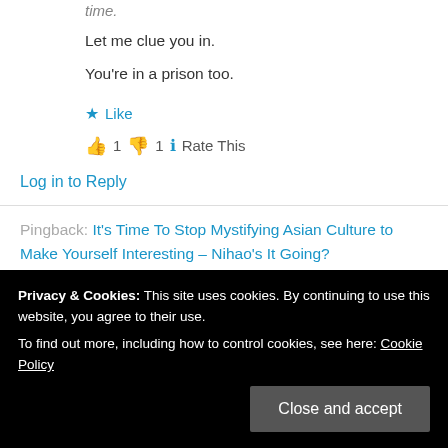time.
Let me clue you in.
You're in a prison too.
★ Like
👍 1  👎 1  ℹ Rate This
Log in to Reply
Pingback: It's Time To Stop Mystifying Asian Culture to Make Yourself Interesting – Nihao's It Going?
Privacy & Cookies: This site uses cookies. By continuing to use this website, you agree to their use. To find out more, including how to control cookies, see here: Cookie Policy